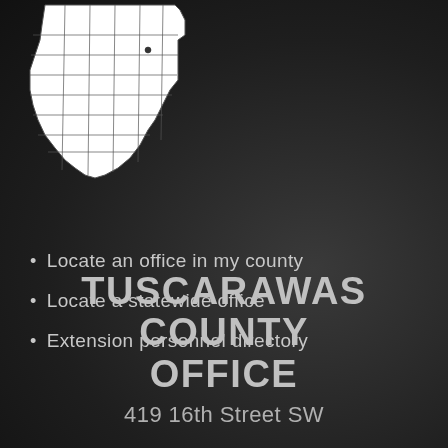[Figure (map): Outline map of Ohio state divided into counties, shown in white on dark background, with one county (Tuscarawas) highlighted near the top center]
Locate an office in my county
Locate a statewide office
Extension personnel directory
TUSCARAWAS COUNTY OFFICE
419 16th Street SW